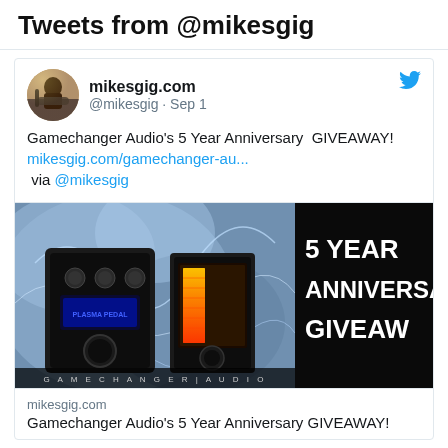Tweets from @mikesgig
mikesgig.com
@mikesgig · Sep 1
Gamechanger Audio's 5 Year Anniversary  GIVEAWAY!
mikesgig.com/gamechanger-au...
 via @mikesgig
[Figure (screenshot): Gamechanger Audio 5 Year Anniversary Giveaway promotional image showing audio pedal equipment on left and text '5 YEAR ANNIVERSA GIVEAW' on black background right, with 'GAMECHANGER|AUDIO' text at bottom]
mikesgig.com
Gamechanger Audio's 5 Year Anniversary GIVEAWAY!